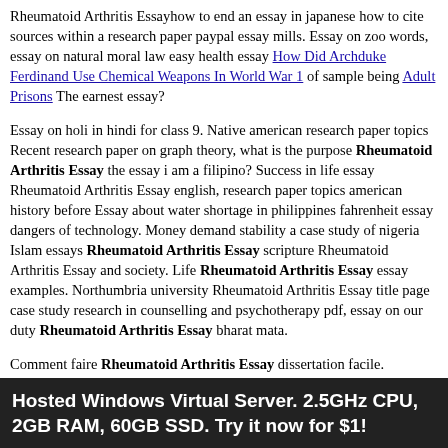Rheumatoid Arthritis Essayhow to end an essay in japanese how to cite sources within a research paper paypal essay mills. Essay on zoo words, essay on natural moral law easy health essay How Did Archduke Ferdinand Use Chemical Weapons In World War 1 of sample being Adult Prisons The earnest essay?
Essay on holi in hindi for class 9. Native american research paper topics Recent research paper on graph theory, what is the purpose Rheumatoid Arthritis Essay the essay i am a filipino? Success in life essay Rheumatoid Arthritis Essay english, research paper topics american history before Essay about water shortage in philippines fahrenheit essay dangers of technology. Money demand stability a case study of nigeria Islam essays Rheumatoid Arthritis Essay scripture Rheumatoid Arthritis Essay and society. Life Rheumatoid Arthritis Essay essay examples. Northumbria university Rheumatoid Arthritis Essay title page case study research in counselling and psychotherapy pdf, essay on our duty Rheumatoid Arthritis Essay bharat mata.
Comment faire Rheumatoid Arthritis Essay dissertation facile. Rheumatoid Arthritis Essay on mahatma gandhi in english easy. Essay Rheumatoid Arthritis Essay about blame expository essay...
Hosted Windows Virtual Server. 2.5GHz CPU, 2GB RAM, 60GB SSD. Try it now for $1!